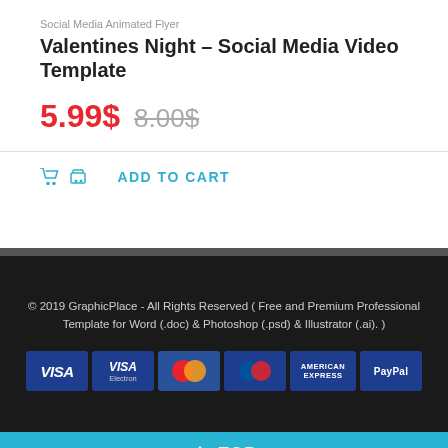Social Media Animated Flyer
Valentines Night – Social Media Video Template
5.99$  8.00$
ADD TO CART
© 2019 GraphicPlace - All Rights Reserved ( Free and Premium Professional Template for Word (.doc) & Photoshop (.psd) & Illustrator (.ai). )
[Figure (other): Payment method logos: VISA, VISA Electron, MasterCard, Maestro, American Express, PayPal]
TOP